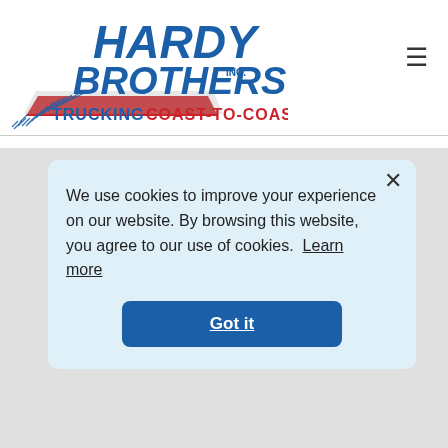[Figure (logo): Hardy Brothers Inc. Trucking Coast-to-Coast logo with blue text and red road graphic with tire tracks]
≡
We use cookies to improve your experience on our website. By browsing this website, you agree to our use of cookies. Learn more
Got it